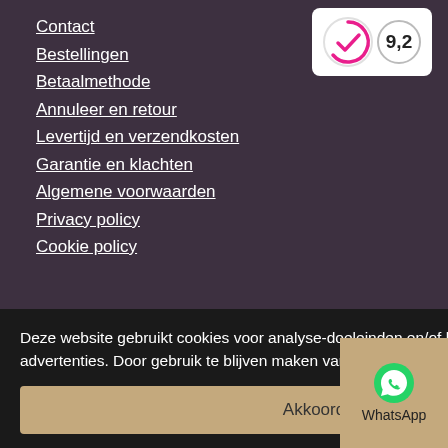[Figure (logo): Rating badge with green checkmark logo and score 9,2 in circle]
Contact
Bestellingen
Betaalmethode
Annuleer en retour
Levertijd en verzendkosten
Garantie en klachten
Algemene voorwaarden
Privacy policy
Cookie policy
English
Contact
Deze website gebruikt cookies voor analyse-doeleinden en/of het tonen van advertenties. Door gebruik te blijven maken van de site gaat u hiermee akkoord.
Akkoord
[Figure (logo): WhatsApp icon with label WhatsApp]